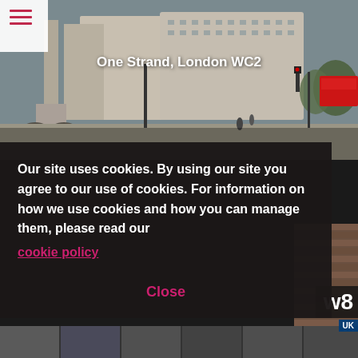[Figure (photo): Street-level photo of One Strand, London WC2 showing Trafalgar Square area with Nelson's Column, classic London architecture, street lamps and red bus in background]
One Strand, London WC2
Our site uses cookies. By using our site you agree to our use of cookies. For information on how we use cookies and how you can manage them, please read our
cookie policy
Close
[Figure (photo): Partial view of London street with brick building and partial text 'w8' and 'UK' sign visible]
[Figure (photo): Bottom strip showing multiple London street scene thumbnails]